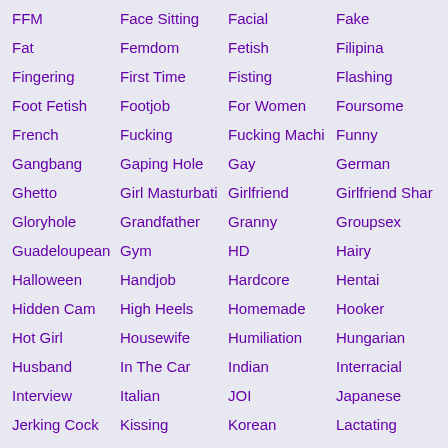FFM
Face Sitting
Facial
Fake
Fat
Femdom
Fetish
Filipina
Fingering
First Time
Fisting
Flashing
Foot Fetish
Footjob
For Women
Foursome
French
Fucking
Fucking Machi
Funny
Gangbang
Gaping Hole
Gay
German
Ghetto
Girl Masturbati
Girlfriend
Girlfriend Shar
Gloryhole
Grandfather
Granny
Groupsex
Guadeloupean
Gym
HD
Hairy
Halloween
Handjob
Hardcore
Hentai
Hidden Cam
High Heels
Homemade
Hooker
Hot Girl
Housewife
Humiliation
Hungarian
Husband
In The Car
Indian
Interracial
Interview
Italian
JOI
Japanese
Jerking Cock
Kissing
Korean
Lactating
Ladyboy
Latex
Latina
Legs
Lesbian
Lingerie
MMF
Maid